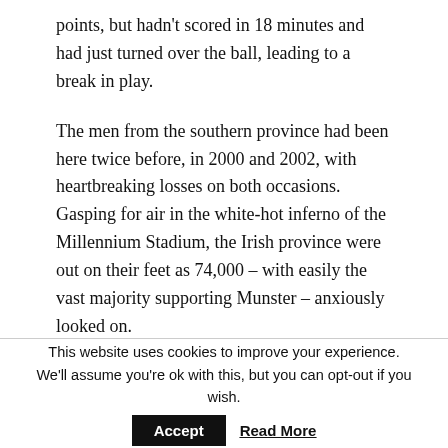points, but hadn't scored in 18 minutes and had just turned over the ball, leading to a break in play.
The men from the southern province had been here twice before, in 2000 and 2002, with heartbreaking losses on both occasions. Gasping for air in the white-hot inferno of the Millennium Stadium, the Irish province were out on their feet as 74,000 – with easily the vast majority supporting Munster – anxiously looked on.
This website uses cookies to improve your experience. We'll assume you're ok with this, but you can opt-out if you wish. Accept Read More